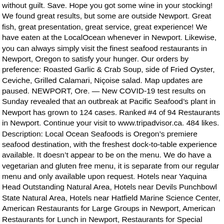without guilt. Save. Hope you got some wine in your stocking! We found great results, but some are outside Newport. Great fish, great presentation, great service, great experience! We have eaten at the LocalOcean whenever in Newport. Likewise, you can always simply visit the finest seafood restaurants in Newport, Oregon to satisfy your hunger. Our orders by preference: Roasted Garlic & Crab Soup, side of Fried Oyster, Ceviche, Grilled Calamari, Niçoise salad. Map updates are paused. NEWPORT, Ore. — New COVID-19 test results on Sunday revealed that an outbreak at Pacific Seafood's plant in Newport has grown to 124 cases. Ranked #4 of 94 Restaurants in Newport. Continue your visit to www.tripadvisor.ca. 484 likes. Description: Local Ocean Seafoods is Oregon's premiere seafood destination, with the freshest dock-to-table experience available. It doesn't appear to be on the menu. We do have a vegetarian and gluten free menu, it is separate from our regular menu and only available upon request. Hotels near Yaquina Head Outstanding Natural Area, Hotels near Devils Punchbowl State Natural Area, Hotels near Hatfield Marine Science Center, American Restaurants for Large Groups in Newport, American Restaurants for Lunch in Newport, Restaurants for Special Occasions in Newport. These local foods can be used in a wide variety of recipes and are tasty